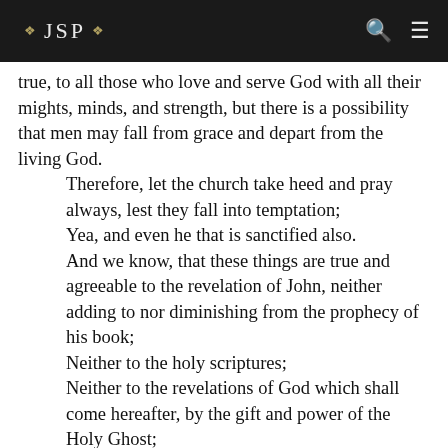❖ JSP ❖
true, to all those who love and serve God with all their mights, minds, and strength, but there is a possibility that men may fall from grace and depart from the living God.
    Therefore, let the church take heed and pray always, lest they fall into temptation;
    Yea, and even he that is sanctified also.
    And we know, that these things are true and agreeable to the revelation of John, neither adding to nor diminishing from the prophecy of his book;
    Neither to the holy scriptures;
    Neither to the revelations of God which shall come hereafter, by the gift and power of the Holy Ghost;
    Neither by the voice of God;
    Neither by the ministering of angels and the Lord God hath spoken it; and honor, power, and glory, be rendered